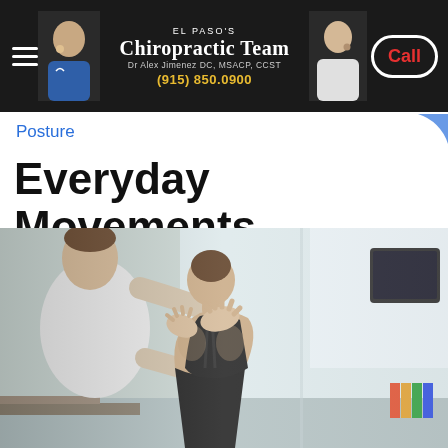El Paso's Chiropractic Team — Dr Alex Jimenez DC, MSACP, CCST — (915) 850.0900 — Call
Posture
Everyday Movements
[Figure (photo): A chiropractor in a white t-shirt placing hands on the back of a female patient wearing a black sports bra and black leggings, examining her posture in a clinical setting]